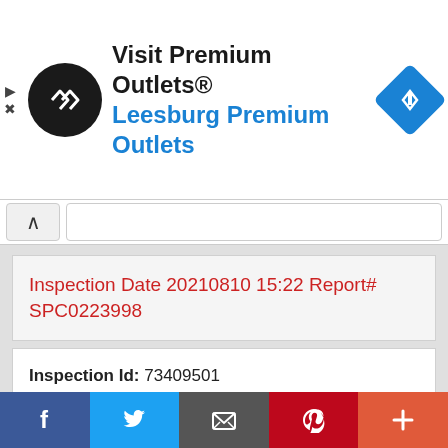[Figure (logo): Advertisement banner: Premium Outlets logo (black circle with double arrow symbol), text 'Visit Premium Outlets® Leesburg Premium Outlets' in black and blue, blue diamond navigation icon on the right]
Inspection Date 20210810 15:22 Report# SPC0223998
Inspection Id: 73409501
Report#: SPC0223998
Inspection End Date: 20210810 15:55
Inspection Status: Complete
Inspection Level: Walk-Around
Source: SafetyNet Uploaded and not
Facebook  Twitter  Email  Pinterest  More